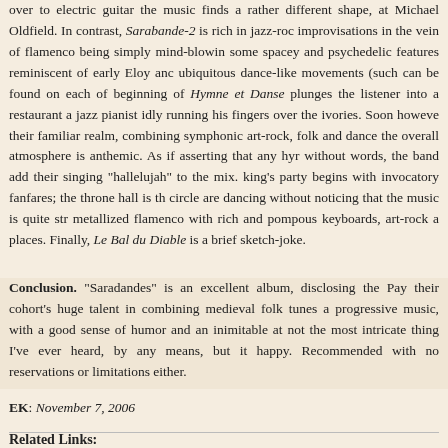over to electric guitar the music finds a rather different shape, at Michael Oldfield. In contrast, Sarabande-2 is rich in jazz-rock improvisations in the vein of flamenco being simply mind-blowing some spacey and psychedelic features reminiscent of early Eloy and ubiquitous dance-like movements (such can be found on each of beginning of Hymne et Danse plunges the listener into a restaurant a jazz pianist idly running his fingers over the ivories. Soon however their familiar realm, combining symphonic art-rock, folk and dance the overall atmosphere is anthemic. As if asserting that any hym without words, the band add their singing "hallelujah" to the mix. king's party begins with invocatory fanfares; the throne hall is th circle are dancing without noticing that the music is quite str metallized flamenco with rich and pompous keyboards, art-rock a places. Finally, Le Bal du Diable is a brief sketch-joke.
Conclusion. "Saradandes" is an excellent album, disclosing the Pay their cohort's huge talent in combining medieval folk tunes a progressive music, with a good sense of humor and an inimitable at not the most intricate thing I've ever heard, by any means, but it happy. Recommended with no reservations or limitations either.
EK: November 7, 2006
Related Links: